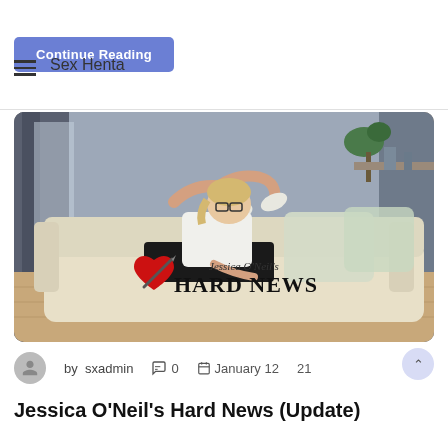Continue Reading | Sex Henta
[Figure (illustration): 3D rendered illustration of a blonde woman with glasses lying on a cream sofa. She wears a white tank top and black skirt with white shoes. Background shows curtains, plant, and room decor. Text overlay reads 'Jessica O'Neil's HARD NEWS' in old English style font with a red heart and pen graphic.]
by sxadmin  0  January 12  21
Jessica O'Neil's Hard News (Update)